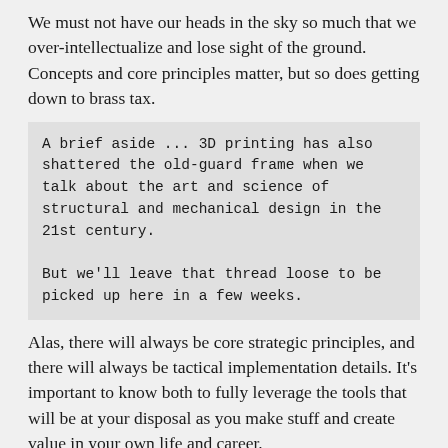We must not have our heads in the sky so much that we over-intellectualize and lose sight of the ground. Concepts and core principles matter, but so does getting down to brass tax.
A brief aside ... 3D printing has also shattered the old-guard frame when we talk about the art and science of structural and mechanical design in the 21st century.

But we'll leave that thread loose to be picked up here in a few weeks.
Alas, there will always be core strategic principles, and there will always be tactical implementation details. It's important to know both to fully leverage the tools that will be at your disposal as you make stuff and create value in your own life and career.